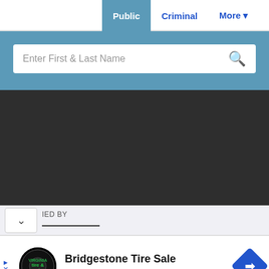Public | Criminal | More
Enter First & Last Name
[Figure (screenshot): Dark area representing search results content area]
IED BY
[Figure (infographic): Bridgestone Tire Sale advertisement with Virginia Tire & Auto of Ashburn logo and navigation arrow icon]